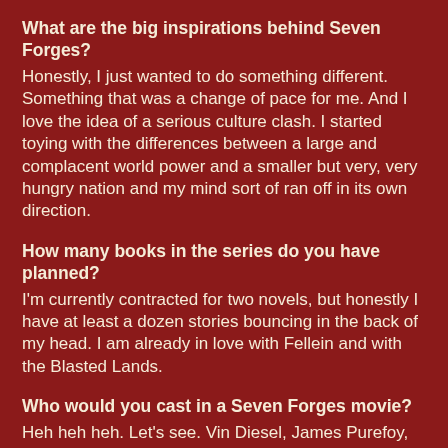What are the big inspirations behind Seven Forges? Honestly, I just wanted to do something different. Something that was a change of pace for me. And I love the idea of a serious culture clash. I started toying with the differences between a large and complacent world power and a smaller but very, very hungry nation and my mind sort of ran off in its own direction.
How many books in the series do you have planned? I'm currently contracted for two novels, but honestly I have at least a dozen stories bouncing in the back of my head. I am already in love with Fellein and with the Blasted Lands.
Who would you cast in a Seven Forges movie? Heh heh heh. Let's see. Vin Diesel, James Purefoy, Jason Momoa, Jeremy Renner, Scarlett Johansen, Tom Hiddelston, Taylor Kitsch, Daniel Craig, Emma Stone, Emma Watson, Benedict Cumberbatch, Julianne Moore, Andrew Garfield, Hugh Jackman…I can think of any number of possibilities.
What are you reading now?